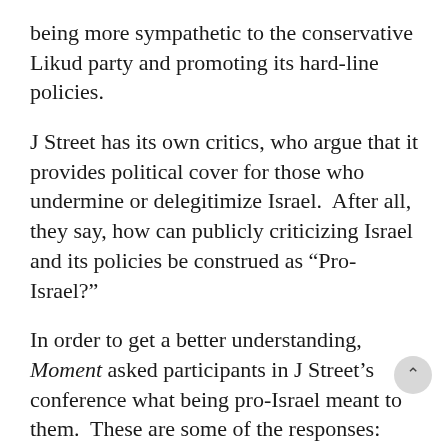being more sympathetic to the conservative Likud party and promoting its hard-line policies.
J Street has its own critics, who argue that it provides political cover for those who undermine or delegitimize Israel. After all, they say, how can publicly criticizing Israel and its policies be construed as “Pro-Israel?”
In order to get a better understanding, Moment asked participants in J Street’s conference what being pro-Israel meant to them. These are some of the responses:
“It means supporting the best interest of the state of Israel, which means supporting peace.” -Yahel